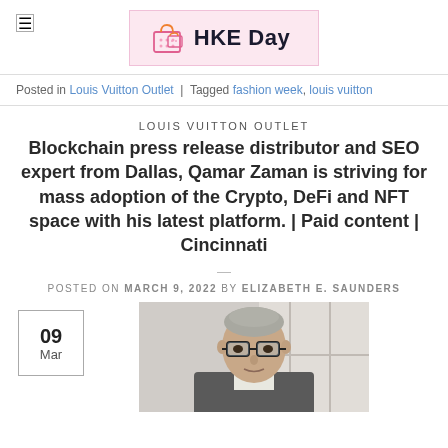HKE Day
Posted in Louis Vuitton Outlet | Tagged fashion week, louis vuitton
LOUIS VUITTON OUTLET
Blockchain press release distributor and SEO expert from Dallas, Qamar Zaman is striving for mass adoption of the Crypto, DeFi and NFT space with his latest platform. | Paid content | Cincinnati
POSTED ON MARCH 9, 2022 BY ELIZABETH E. SAUNDERS
[Figure (photo): Portrait photo of a man with glasses and gray hair wearing a suit, photographed indoors near a window.]